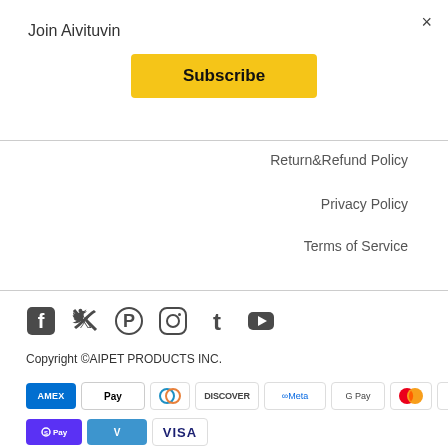×
Join Aivituvin
Subscribe
Return&Refund Policy
Privacy Policy
Terms of Service
[Figure (infographic): Social media icons: Facebook, Twitter, Pinterest, Instagram, Tumblr, YouTube]
Copyright ©AIPET PRODUCTS INC.
[Figure (infographic): Payment method icons: AMEX, Apple Pay, Diners Club, Discover, Meta Pay, Google Pay, Mastercard, PayPal, Shop Pay, Venmo, Visa]